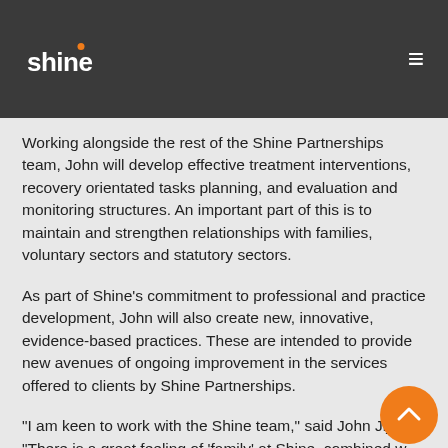Shine
Working alongside the rest of the Shine Partnerships team, John will develop effective treatment interventions, recovery orientated tasks planning, and evaluation and monitoring structures. An important part of this is to maintain and strengthen relationships with families, voluntary sectors and statutory sectors.
As part of Shine’s commitment to professional and practice development, John will also create new, innovative, evidence-based practices. These are intended to provide new avenues of ongoing improvement in the services offered to clients by Shine Partnerships.
“I am keen to work with the Shine team,” said John Jija. “There is a great feeling of ‘family’ at Shine, combined with an abundance of talent, drive, creativity and dedication to